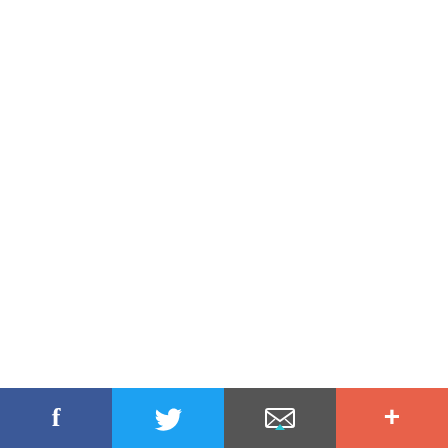Beautiful Lake View animation gif
[Figure (other): Advertisement banner with gradient grey/dark background and close/play icons]
[Figure (other): Social media sharing bar with Facebook, Twitter, Email, and More buttons]